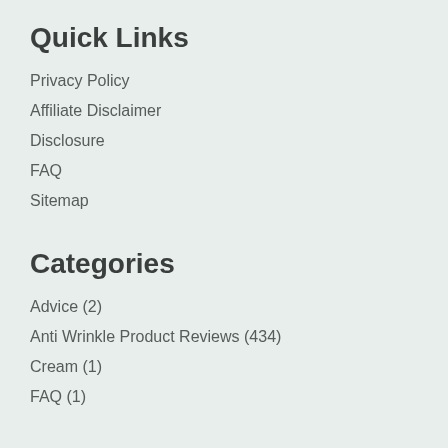Quick Links
Privacy Policy
Affiliate Disclaimer
Disclosure
FAQ
Sitemap
Categories
Advice (2)
Anti Wrinkle Product Reviews (434)
Cream (1)
FAQ (1)